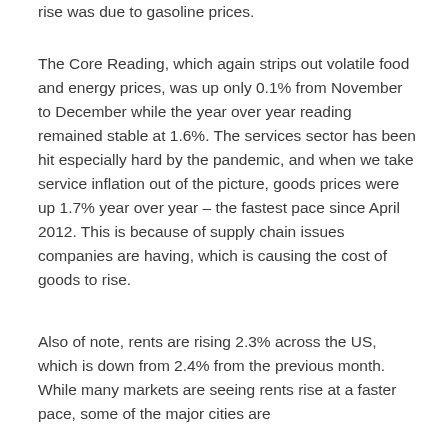rise was due to gasoline prices.
The Core Reading, which again strips out volatile food and energy prices, was up only 0.1% from November to December while the year over year reading remained stable at 1.6%. The services sector has been hit especially hard by the pandemic, and when we take service inflation out of the picture, goods prices were up 1.7% year over year – the fastest pace since April 2012. This is because of supply chain issues companies are having, which is causing the cost of goods to rise.
Also of note, rents are rising 2.3% across the US, which is down from 2.4% from the previous month. While many markets are seeing rents rise at a faster pace, some of the major cities are